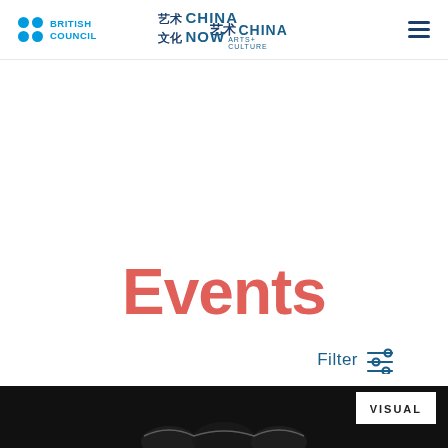British Council | China Now Arts + Culture | Menu
Events
Filter
[Figure (screenshot): Dark area with VISUAL button and partial image of a performance/artwork at the bottom of the page]